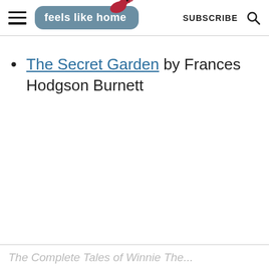feels like home — SUBSCRIBE
The Secret Garden by Frances Hodgson Burnett
The Complete Tales of Winnie The...